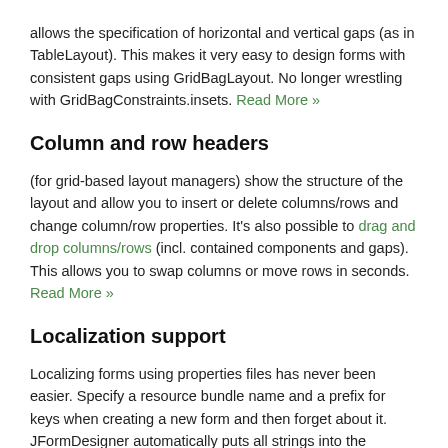allows the specification of horizontal and vertical gaps (as in TableLayout). This makes it very easy to design forms with consistent gaps using GridBagLayout. No longer wrestling with GridBagConstraints.insets. Read More »
Column and row headers
(for grid-based layout managers) show the structure of the layout and allow you to insert or delete columns/rows and change column/row properties. It's also possible to drag and drop columns/rows (incl. contained components and gaps). This allows you to swap columns or move rows in seconds. Read More »
Localization support
Localizing forms using properties files has never been easier. Specify a resource bundle name and a prefix for keys when creating a new form and then forget about it. JFormDesigner automatically puts all strings into the specified resource bundle (auto-externalizing).